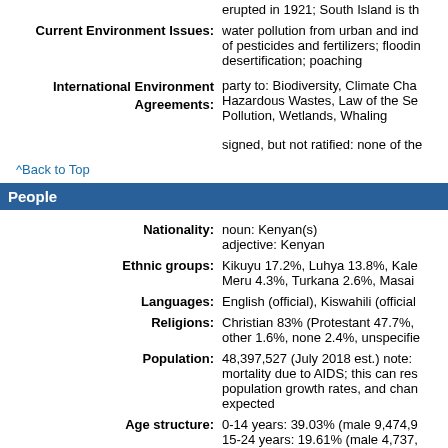erupted in 1921; South Island is th
Current Environment Issues: water pollution from urban and ind of pesticides and fertilizers; floodin desertification; poaching
International Environment Agreements: party to: Biodiversity, Climate Cha Hazardous Wastes, Law of the Se Pollution, Wetlands, Whaling
signed, but not ratified: none of the
^Back to Top
People
Nationality: noun: Kenyan(s) adjective: Kenyan
Ethnic groups: Kikuyu 17.2%, Luhya 13.8%, Kale Meru 4.3%, Turkana 2.6%, Masai
Languages: English (official), Kiswahili (official
Religions: Christian 83% (Protestant 47.7%, other 1.6%, none 2.4%, unspecifie
Population: 48,397,527 (July 2018 est.) note: mortality due to AIDS; this can res population growth rates, and chan expected
Age structure: 0-14 years: 39.03% (male 9,474,9 15-24 years: 19.61% (male 4,737, 25-54 years: 34.27% (male 8,393, 55-64 years: 4% (male 894,371 /fe 65 years and over: 3.08% (male 6